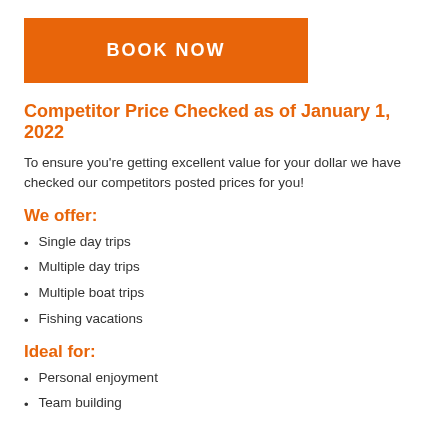BOOK NOW
Competitor Price Checked as of January 1, 2022
To ensure you're getting excellent value for your dollar we have checked our competitors posted prices for you!
We offer:
Single day trips
Multiple day trips
Multiple boat trips
Fishing vacations
Ideal for:
Personal enjoyment
Team building